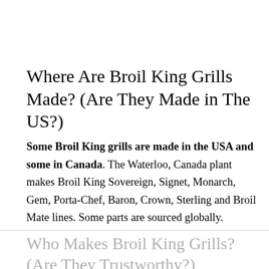Where Are Broil King Grills Made? (Are They Made in The US?)
Some Broil King grills are made in the USA and some in Canada. The Waterloo, Canada plant makes Broil King Sovereign, Signet, Monarch, Gem, Porta-Chef, Baron, Crown, Sterling and Broil Mate lines. Some parts are sourced globally.
Who Makes Broil King Grills? (Are They Trustworthy?)